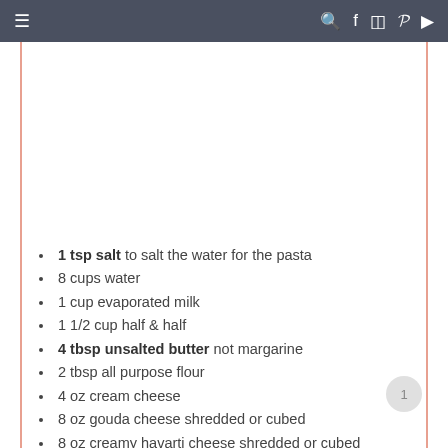≡  🔍 f 📷 𝑃 ▶
[Figure (photo): White image placeholder area]
1 tsp salt to salt the water for the pasta
8 cups water
1 cup evaporated milk
1 1/2 cup half & half
4 tbsp unsalted butter not margarine
2 tbsp all purpose flour
4 oz cream cheese
8 oz gouda cheese shredded or cubed
8 oz creamy havarti cheese shredded or cubed